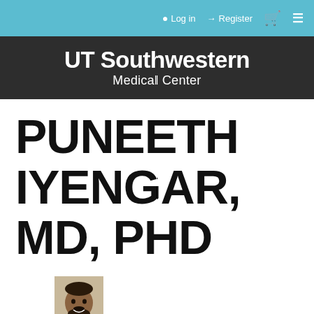Log in  Register
[Figure (logo): UT Southwestern Medical Center logo — white bold text on dark charcoal background]
PUNEETH IYENGAR, MD, PHD
[Figure (photo): Small headshot photo of Dr. Puneeth Iyengar wearing a white coat, dark beard and hair, smiling]